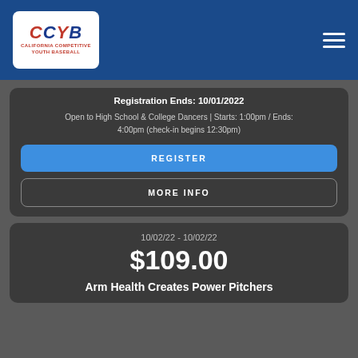[Figure (logo): CCYB California Competitive Youth Baseball logo on blue header with hamburger menu icon]
Registration Ends: 10/01/2022
Open to High School & College Dancers | Starts: 1:00pm / Ends: 4:00pm (check-in begins 12:30pm)
REGISTER
MORE INFO
10/02/22 - 10/02/22
$109.00
Arm Health Creates Power Pitchers